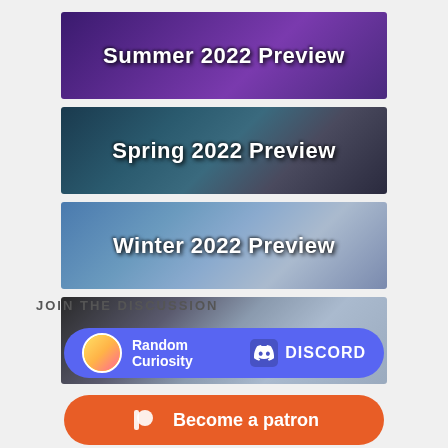[Figure (illustration): Summer 2022 Preview banner with purple anime art background]
[Figure (illustration): Spring 2022 Preview banner with teal/dark anime art background]
[Figure (illustration): Winter 2022 Preview banner with blue/light anime art background]
[Figure (illustration): Fall 2021 Preview banner with mixed anime art background]
JOIN THE DISCUSSION
[Figure (logo): Random Curiosity Discord button with avatar and Discord logo]
[Figure (logo): Become a patron Patreon button in orange]